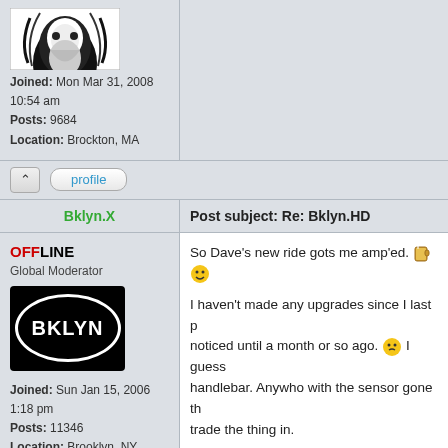[Figure (illustration): Black and white illustration of a bearded face with flowing hair, partial view at top]
Joined: Mon Mar 31, 2008 10:54 am
Posts: 9684
Location: Brockton, MA
profile (button)
Bklyn.X
Post subject: Re: Bklyn.HD
OFFLINE
Global Moderator
[Figure (logo): BKLYN logo - white oval with BKLYN text on black background]
Joined: Sun Jan 15, 2006 1:18 pm
Posts: 11346
Location: Brooklyn, NY
So Dave's new ride gots me amp'ed.
I haven't made any upgrades since I last p... noticed until a month or so ago. I guess... handlebar. Anywho with the sensor gone th... trade the thing in.
She's running well. Here the latest photo I h...
[Figure (photo): Road sign showing route 1 marker with National Park Service arrowhead logo and partial text FLO]